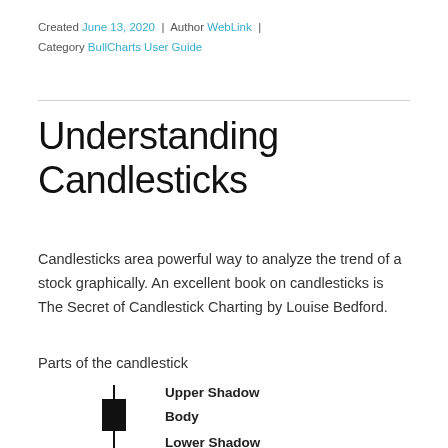Created June 13, 2020 | Author WebLink | Category BullCharts User Guide
Understanding Candlesticks
Candlesticks area powerful way to analyze the trend of a stock graphically. An excellent book on candlesticks is The Secret of Candlestick Charting by Louise Bedford.
Parts of the candlestick
[Figure (illustration): A candlestick diagram showing Upper Shadow, Body, and Lower Shadow labels pointing to the respective parts of a bearish (black/filled) candlestick.]